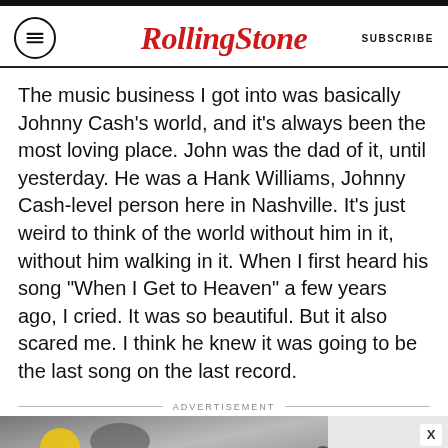Rolling Stone | SUBSCRIBE
The music business I got into was basically Johnny Cash’s world, and it’s always been the most loving place. John was the dad of it, until yesterday. He was a Hank Williams, Johnny Cash-level person here in Nashville. It’s just weird to think of the world without him in it, without him walking in it. When I first heard his song “When I Get to Heaven” a few years ago, I cried. It was so beautiful. But it also scared me. I think he knew it was going to be the last song on the last record.
ADVERTISEMENT
[Figure (photo): Advertisement banner: SPY-TESTED MASSAGE GUN NOW JUST $79 with SPY logo on yellow background]